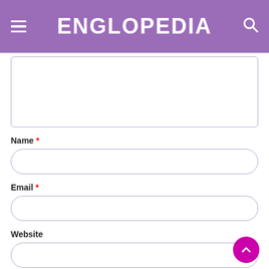ENGLOPEDIA
[Figure (screenshot): Textarea input field (comment box), partially visible at top]
Name *
[Figure (screenshot): Name input field with rounded border]
Email *
[Figure (screenshot): Email input field with rounded border]
Website
[Figure (screenshot): Website input field with rounded border]
Save my name, email, and website in this browser for the next ti...